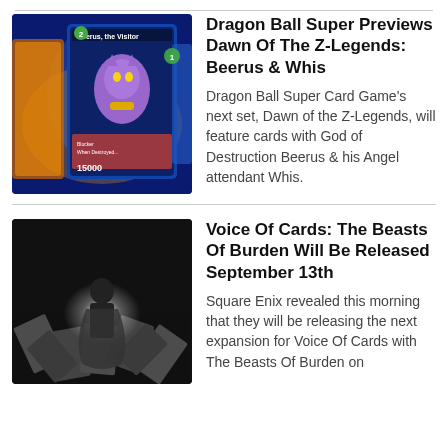[Figure (photo): Dragon Ball Super card game cards featuring Beerus the Visitor character with purple alien figure and card stats showing 15000 power]
Dragon Ball Super Previews Dawn Of The Z-Legends: Beerus & Whis
Dragon Ball Super Card Game's next set, Dawn of the Z-Legends, will feature cards with God of Destruction Beerus & his Angel attendant Whis.
[Figure (photo): Black and white illustration of Voice of Cards: The Beasts of Burden game art showing a figure surrounded by cards in a dramatic lighting scene]
Voice Of Cards: The Beasts Of Burden Will Be Released September 13th
Square Enix revealed this morning that they will be releasing the next expansion for Voice Of Cards with The Beasts Of Burden on